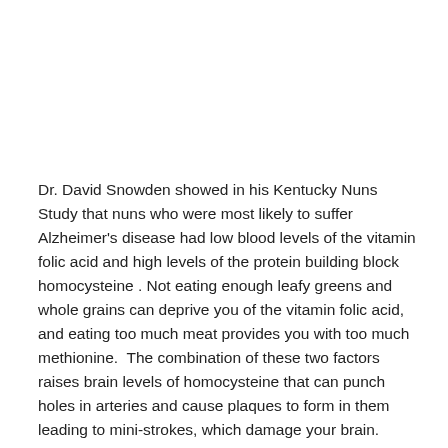Dr. David Snowden showed in his Kentucky Nuns Study that nuns who were most likely to suffer Alzheimer's disease had low blood levels of the vitamin folic acid and high levels of the protein building block homocysteine . Not eating enough leafy greens and whole grains can deprive you of the vitamin folic acid, and eating too much meat provides you with too much methionine.  The combination of these two factors raises brain levels of homocysteine that can punch holes in arteries and cause plaques to form in them leading to mini-strokes, which damage your brain.